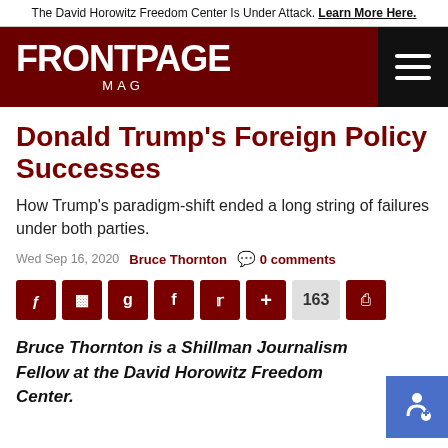The David Horowitz Freedom Center Is Under Attack. Learn More Here.
[Figure (logo): FrontPage Mag logo — white text on dark red background with hamburger menu icon on right]
Donald Trump's Foreign Policy Successes
How Trump's paradigm-shift ended a long string of failures under both parties.
Wed Sep 16, 2020  Bruce Thornton  0 comments
[Figure (infographic): Social share buttons: MeWe, Parler, Gab, Facebook, Twitter, Plus, count 163, Print]
Bruce Thornton is a Shillman Journalism Fellow at the David Horowitz Freedom Center.